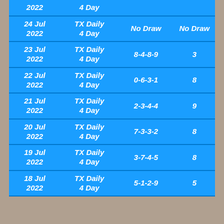| Date | Game | Numbers | Sum |
| --- | --- | --- | --- |
| 2022 | 4 Day |  |  |
| 24 Jul 2022 | TX Daily 4 Day | No Draw | No Draw |
| 23 Jul 2022 | TX Daily 4 Day | 8-4-8-9 | 3 |
| 22 Jul 2022 | TX Daily 4 Day | 0-6-3-1 | 8 |
| 21 Jul 2022 | TX Daily 4 Day | 2-3-4-4 | 9 |
| 20 Jul 2022 | TX Daily 4 Day | 7-3-3-2 | 8 |
| 19 Jul 2022 | TX Daily 4 Day | 3-7-4-5 | 8 |
| 18 Jul 2022 | TX Daily 4 Day | 5-1-2-9 | 5 |